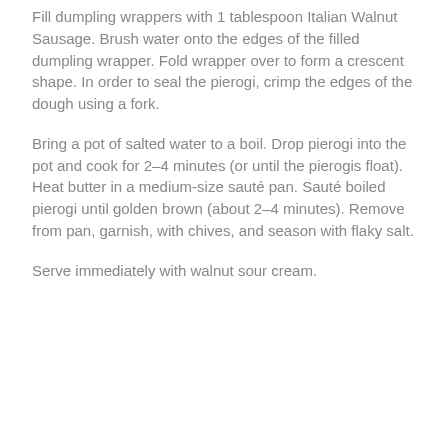Fill dumpling wrappers with 1 tablespoon Italian Walnut Sausage. Brush water onto the edges of the filled dumpling wrapper. Fold wrapper over to form a crescent shape. In order to seal the pierogi, crimp the edges of the dough using a fork.
Bring a pot of salted water to a boil. Drop pierogi into the pot and cook for 2–4 minutes (or until the pierogis float). Heat butter in a medium-size sauté pan. Sauté boiled pierogi until golden brown (about 2–4 minutes). Remove from pan, garnish, with chives, and season with flaky salt.
Serve immediately with walnut sour cream.